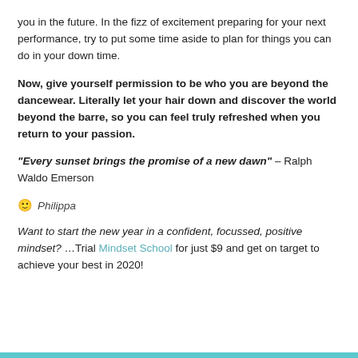you in the future. In the fizz of excitement preparing for your next performance, try to put some time aside to plan for things you can do in your down time.
Now, give yourself permission to be who you are beyond the dancewear. Literally let your hair down and discover the world beyond the barre, so you can feel truly refreshed when you return to your passion.
“Every sunset brings the promise of a new dawn” – Ralph Waldo Emerson
🙂 Philippa
Want to start the new year in a confident, focussed, positive mindset? …Trial Mindset School for just $9 and get on target to achieve your best in 2020!